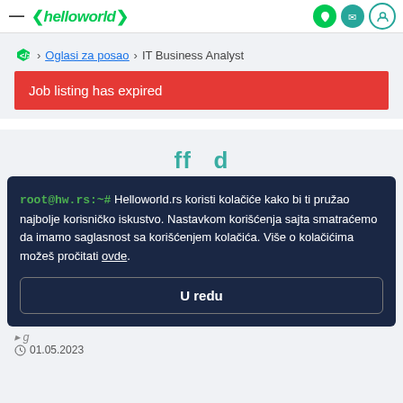— helloworld > Oglasi za posao > IT Business Analyst
Job listing has expired
root@hw.rs:~# Helloworld.rs koristi kolačiće kako bi ti pružao najbolje korisničko iskustvo. Nastavkom korišćenja sajta smatraćemo da imamo saglasnost sa korišćenjem kolačića. Više o kolačićima možeš pročitati ovde.
U redu
01.05.2023